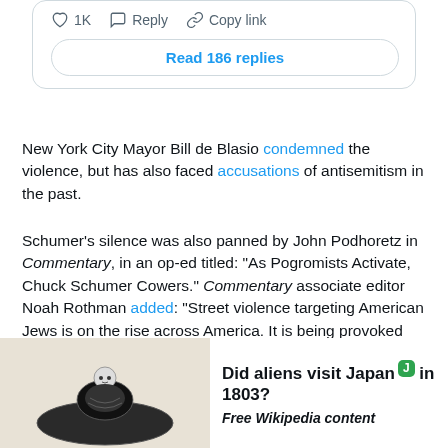[Figure (screenshot): Tweet interaction bar showing heart icon with 1K likes, reply icon with Reply label, and copy link icon with Copy link label]
Read 186 replies
New York City Mayor Bill de Blasio condemned the violence, but has also faced accusations of antisemitism in the past.
Schumer's silence was also panned by John Podhoretz in Commentary, in an op-ed titled: “As Pogromists Activate, Chuck Schumer Cowers.” Commentary associate editor Noah Rothman added: “Street violence targeting American Jews is on the rise across America. It is being provoked and condoned by progressives within the Democratic establishment, and the party is doing nothing about it.”
[Figure (illustration): Black and white illustration of a figure sitting in or near a dome-shaped object]
Did aliens visit Japan in 1803? Free Wikipedia content